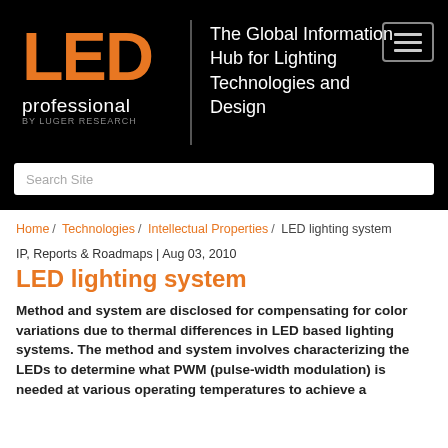[Figure (logo): LED professional by Luger Research logo with orange LED text and white 'professional' text on black background]
The Global Information Hub for Lighting Technologies and Design
Search Site
Home / Technologies / Intellectual Properties / LED lighting system
IP, Reports & Roadmaps | Aug 03, 2010
LED lighting system
Method and system are disclosed for compensating for color variations due to thermal differences in LED based lighting systems. The method and system involves characterizing the LEDs to determine what PWM (pulse-width modulation) is needed at various operating temperatures to achieve a